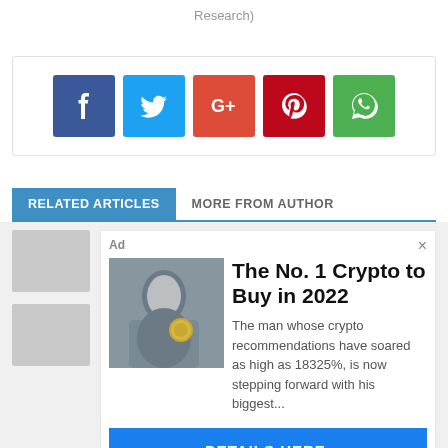Research)
[Figure (other): Social sharing buttons: Facebook (blue), Twitter (light blue), Google+ (orange-red), Pinterest (red), WhatsApp (green)]
RELATED ARTICLES	MORE FROM AUTHOR
[Figure (other): Advertisement box: The No. 1 Crypto to Buy in 2022. Image of man holding coin. Description text. Details Here button.]
The No. 1 Crypto to Buy in 2022
The man whose crypto recommendations have soared as high as 18325%, is now stepping forward with his biggest...
DETAILS HERE.